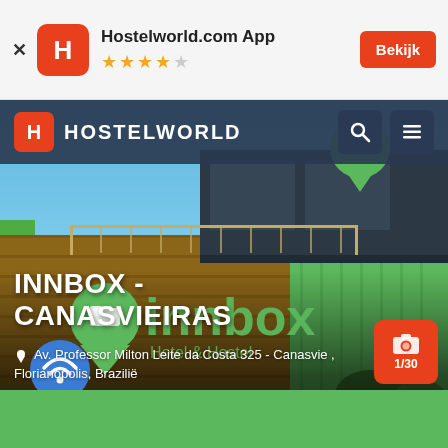[Figure (screenshot): Top app install banner for Hostelworld.com App with orange H logo, 4-star rating, and Bekijk button]
[Figure (screenshot): Hostelworld mobile app screenshot showing Innbox - Canasvieiras hostel in Florianopolis, Brazil. Features a photo of a hostel built from shipping containers with green and dark metal exteriors, wooden facade with Innbox Hotel & Hostel logo, Hostelworld navigation bar, WiFi badge, hostel name, address, and photo counter showing 1/30]
INNBOX - CANASVIEIRAS
Av. Professor Milton Leite da Costa 325 - Canasvie , Florianopolis, Brazilië